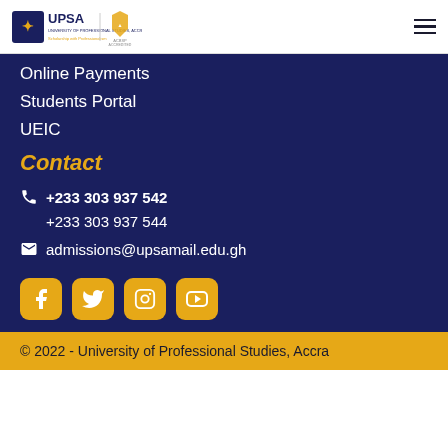[Figure (logo): UPSA University of Professional Studies Accra logo with ACBSP Accredited badge]
Online Payments
Students Portal
UEIC
Contact
+233 303 937 542
+233 303 937 544
admissions@upsamail.edu.gh
[Figure (illustration): Social media icons: Facebook, Twitter, Instagram, YouTube — gold/amber colored on dark navy background]
© 2022 - University of Professional Studies, Accra